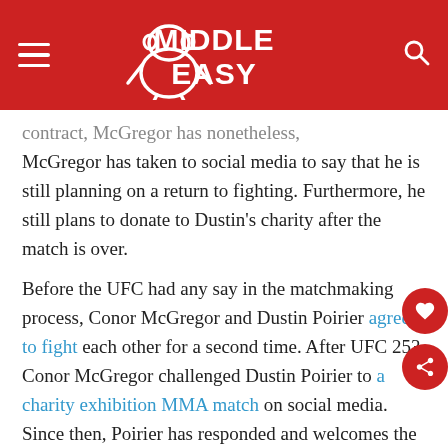Middle Easy
contract, McGregor has nonetheless, McGregor has taken to social media to say that he is still planning on a return to fighting. Furthermore, he still plans to donate to Dustin’s charity after the match is over.
Before the UFC had any say in the matchmaking process, Conor McGregor and Dustin Poirier agreed to fight each other for a second time. After UFC 253, Conor McGregor challenged Dustin Poirier to a charity exhibition MMA match on social media. Since then, Poirier has responded and welcomes the challenge to support his charity. The Good Fight. Originally, McGregor